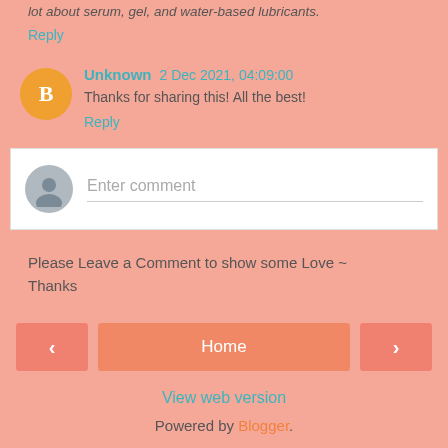lot about serum, gel, and water-based lubricants.
Reply
Unknown 2 Dec 2021, 04:09:00
Thanks for sharing this! All the best!
Reply
[Figure (other): Comment input box with grey avatar and 'Enter comment' placeholder text]
Please Leave a Comment to show some Love ~ Thanks
< Home >
View web version
Powered by Blogger.